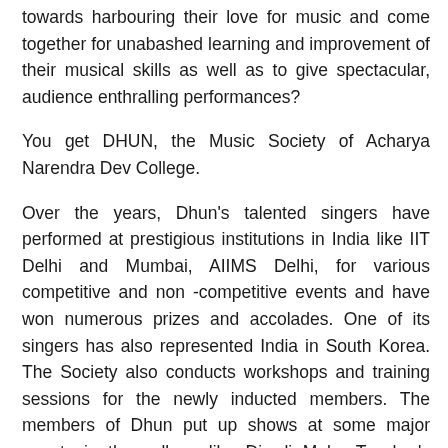towards harbouring their love for music and come together for unabashed learning and improvement of their musical skills as well as to give spectacular, audience enthralling performances?
You get DHUN, the Music Society of Acharya Narendra Dev College.
Over the years, Dhun's talented singers have performed at prestigious institutions in India like IIT Delhi and Mumbai, AIIMS Delhi, for various competitive and non -competitive events and have won numerous prizes and accolades. One of its singers has also represented India in South Korea. The Society also conducts workshops and training sessions for the newly inducted members. The members of Dhun put up shows at some major events in the college like Diwali Mela, Teacher's Day, etc. Along with the Students' Council of ANDC, it has organised various music competitions from group singing to instrumental, Battle of Bands etc. and